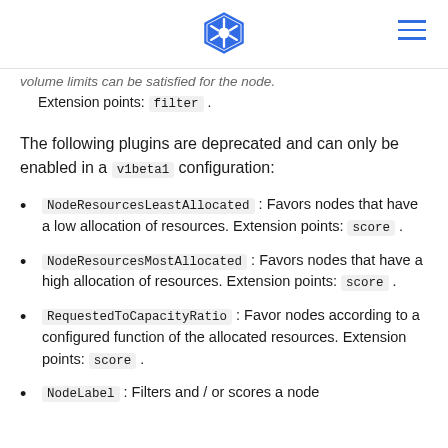Kubernetes logo and navigation menu
volume limits can be satisfied for the node. Extension points: filter .
The following plugins are deprecated and can only be enabled in a v1beta1 configuration:
NodeResourcesLeastAllocated : Favors nodes that have a low allocation of resources. Extension points: score .
NodeResourcesMostAllocated : Favors nodes that have a high allocation of resources. Extension points: score .
RequestedToCapacityRatio : Favor nodes according to a configured function of the allocated resources. Extension points: score .
NodeLabel : Filters and / or scores a node